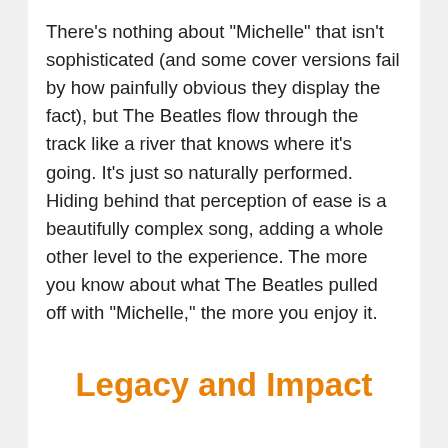There's nothing about "Michelle" that isn't sophisticated (and some cover versions fail by how painfully obvious they display the fact), but The Beatles flow through the track like a river that knows where it's going. It's just so naturally performed. Hiding behind that perception of ease is a beautifully complex song, adding a whole other level to the experience. The more you know about what The Beatles pulled off with "Michelle," the more you enjoy it.
Legacy and Impact
"Michelle" has gone on not only to win The Beatles' only Song of the Year Grammy award but also to be one of their most